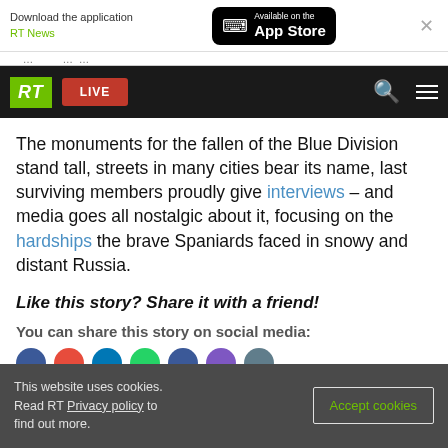Download the application RT News | Available on the App Store
RT LIVE [navigation bar]
The monuments for the fallen of the Blue Division stand tall, streets in many cities bear its name, last surviving members proudly give interviews – and media goes all nostalgic about it, focusing on the hardships the brave Spaniards faced in snowy and distant Russia.
Like this story? Share it with a friend!
You can share this story on social media:
This website uses cookies. Read RT Privacy policy to find out more. Accept cookies